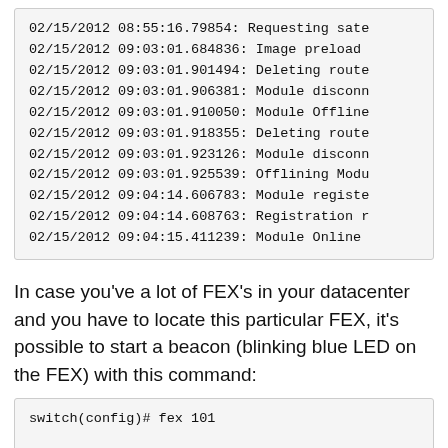[Figure (screenshot): Terminal/log output showing timestamped system log entries from 02/15/2012 with events including satellite requests, image preload, deleting routes, module disconnect, module offline, offlining module, module registered, registration, and module online messages.]
In case you've a lot of FEX's in your datacenter and you have to locate this particular FEX, it's possible to start a beacon (blinking blue LED on the FEX) with this command:
[Figure (screenshot): Code block showing the beginning of a command: switch(config)# fex 101]